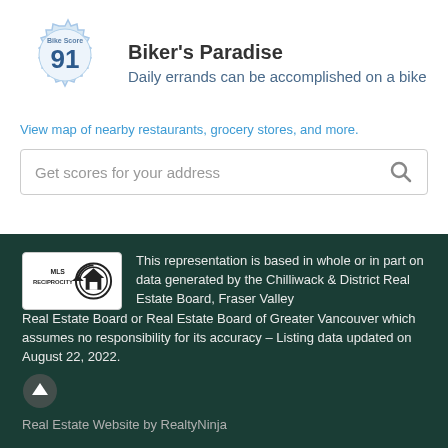[Figure (logo): Bike Score badge - gear/cog shaped badge with 'Bike Score' label and score 91 in large text]
Biker's Paradise
Daily errands can be accomplished on a bike
View map of nearby restaurants, grocery stores, and more.
Get scores for your address
[Figure (logo): MLS Reciprocity logo - white rectangle with MLS RECIPROCITY text and house icon]
This representation is based in whole or in part on data generated by the Chilliwack & District Real Estate Board, Fraser Valley Real Estate Board or Real Estate Board of Greater Vancouver which assumes no responsibility for its accuracy – Listing data updated on August 22, 2022.
Real Estate Website by RealtyNinja